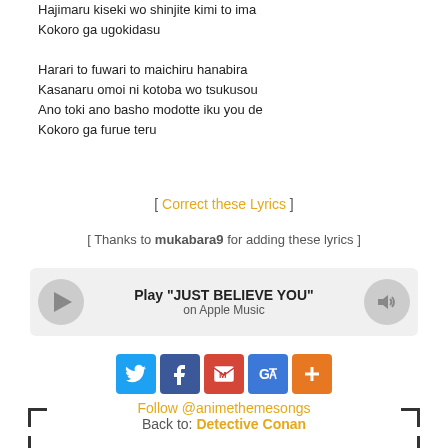Hajimaru kiseki wo shinjite kimi to ima
Kokoro ga ugokidasu
Harari to fuwari to maichiru hanabira
Kasanaru omoi ni kotoba wo tsukusou
Ano toki ano basho modotte iku you de
Kokoro ga furue teru
[ Correct these Lyrics ]
[ Thanks to mukabara9 for adding these lyrics ]
[Figure (other): Apple Music player widget with play button, track title 'Play JUST BELIEVE YOU' on Apple Music, and volume button]
[Figure (other): Social sharing icons: Twitter (blue), Facebook (blue), Gmail (red), Google Translate (blue), More/Plus (orange)]
Follow @animethemesongs
Back to: Detective Conan